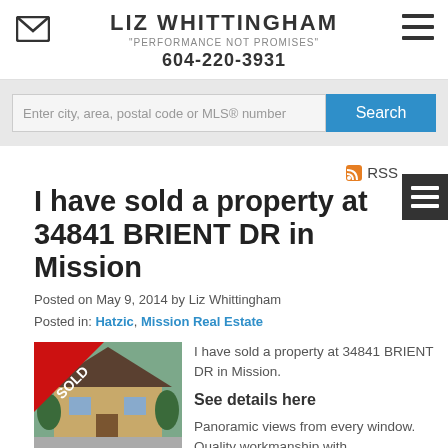LIZ WHITTINGHAM
"PERFORMANCE NOT PROMISES"
604-220-3931
[Figure (screenshot): Search bar with text input: Enter city, area, postal code or MLS® number, and a blue Search button]
I have sold a property at 34841 BRIENT DR in Mission
Posted on May 9, 2014 by Liz Whittingham
Posted in: Hatzic, Mission Real Estate
[Figure (photo): Photo of a property with a red SOLD ribbon banner in the lower-left corner]
I have sold a property at 34841 BRIENT DR in Mission.
See details here
Panoramic views from every window. Quality workmanship with